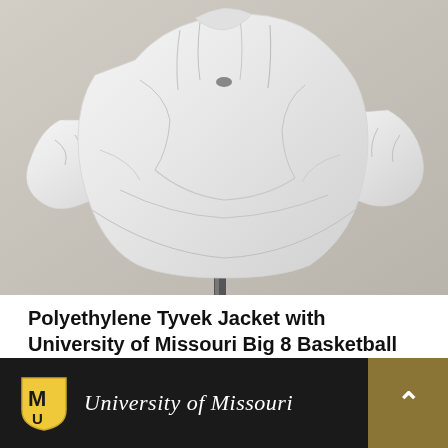[Figure (photo): Photo of a white polyethylene Tyvek jacket displayed on a metal stand/hanger against a beige/gray wall background]
Polyethylene Tyvek Jacket with University of Missouri Big 8 Basketball Print (1980s) Gift of D. Oerly
University of Missouri